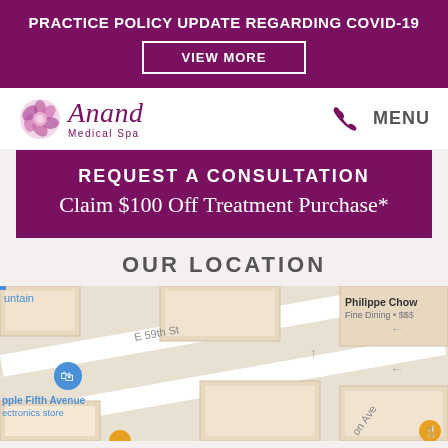PRACTICE POLICY UPDATE REGARDING COVID-19
VIEW MORE
[Figure (logo): Anand Medical Spa logo with flower graphic and phone/menu navigation]
REQUEST A CONSULTATION
Claim $100 Off Treatment Purchase*
OUR LOCATION
[Figure (map): Google Maps showing area near E 59th St with Apple Fifth Avenue store, Philippe Chow Fine Dining, and nearby streets and buildings]